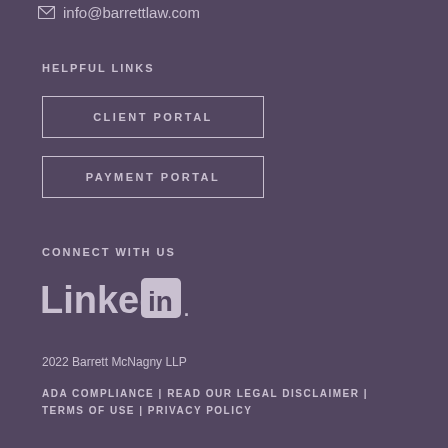info@barrettlaw.com
HELPFUL LINKS
CLIENT PORTAL
PAYMENT PORTAL
CONNECT WITH US
[Figure (logo): LinkedIn logo in white on dark purple background]
2022 Barrett McNagny LLP
ADA COMPLIANCE | READ OUR LEGAL DISCLAIMER | TERMS OF USE | PRIVACY POLICY